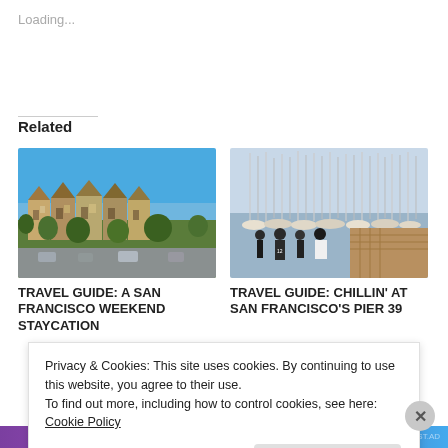Loading...
Related
[Figure (photo): Painted Ladies Victorian houses in San Francisco with blue sky]
TRAVEL GUIDE: A SAN FRANCISCO WEEKEND STAYCATION
[Figure (photo): Marina with sailboats at Pier 39, San Francisco, people on dock]
TRAVEL GUIDE: CHILLIN' AT SAN FRANCISCO'S PIER 39
Privacy & Cookies: This site uses cookies. By continuing to use this website, you agree to their use.
To find out more, including how to control cookies, see here:
Cookie Policy
Close and accept